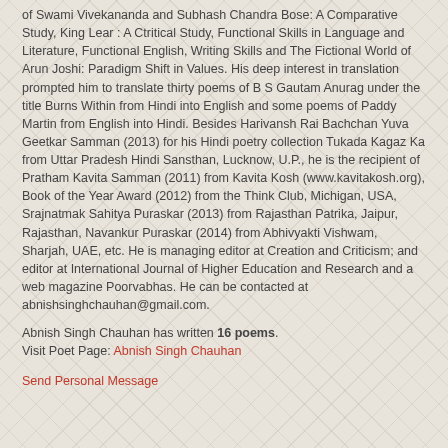of Swami Vivekananda and Subhash Chandra Bose: A Comparative Study, King Lear : A Ctritical Study, Functional Skills in Language and Literature, Functional English, Writing Skills and The Fictional World of Arun Joshi: Paradigm Shift in Values. His deep interest in translation prompted him to translate thirty poems of B S Gautam Anurag under the title Burns Within from Hindi into English and some poems of Paddy Martin from English into Hindi. Besides Harivansh Rai Bachchan Yuva Geetkar Samman (2013) for his Hindi poetry collection Tukada Kagaz Ka from Uttar Pradesh Hindi Sansthan, Lucknow, U.P., he is the recipient of Pratham Kavita Samman (2011) from Kavita Kosh (www.kavitakosh.org), Book of the Year Award (2012) from the Think Club, Michigan, USA, Srajnatmak Sahitya Puraskar (2013) from Rajasthan Patrika, Jaipur, Rajasthan, Navankur Puraskar (2014) from Abhivyakti Vishwam, Sharjah, UAE, etc. He is managing editor at Creation and Criticism; and editor at International Journal of Higher Education and Research and a web magazine Poorvabhas. He can be contacted at abnishsinghchauhan@gmail.com.
Abnish Singh Chauhan has written 16 poems. Visit Poet Page: Abnish Singh Chauhan
Send Personal Message